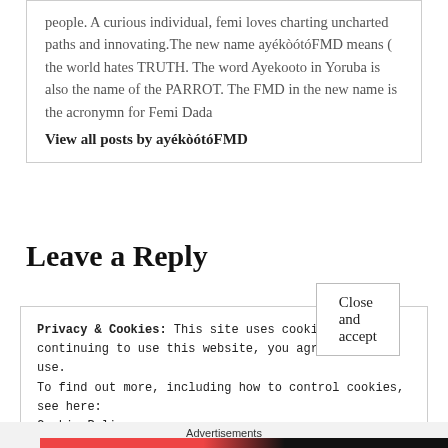people. A curious individual, femi loves charting uncharted paths and innovating.The new name ayékòótóFMD means ( the world hates TRUTH. The word Ayekooto in Yoruba is also the name of the PARROT. The FMD in the new name is the acronymn for Femi Dada
View all posts by ayékòótóFMD
Leave a Reply
Privacy & Cookies: This site uses cookies. By continuing to use this website, you agree to their use.
To find out more, including how to control cookies, see here: Cookie Policy
Close and accept
Advertisements